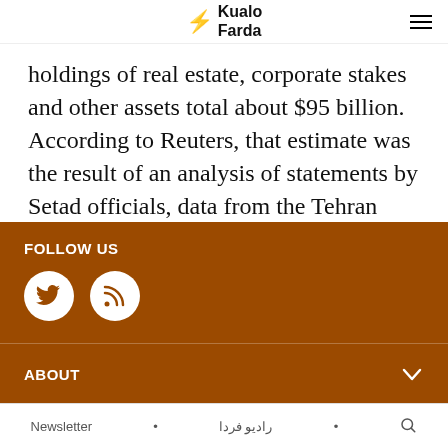Radio Farda
holdings of real estate, corporate stakes and other assets total about $95 billion. According to Reuters, that estimate was the result of an analysis of statements by Setad officials, data from the Tehran Stock Exchange and company websites, and information from the U.S. Treasury Department
FOLLOW US
[Figure (other): Social media icons: Twitter bird icon and RSS feed icon, white circles on brown background]
ABOUT
Newsletter